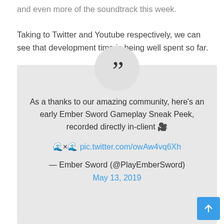and even more of the soundtrack this week.
Taking to Twitter and Youtube respectively, we can see that development time is being well spent so far.
As a thanks to our amazing community, here’s an early Ember Sword Gameplay Sneak Peek, recorded directly in-client 🎥
🌊×🌊 pic.twitter.com/owAw4vq6Xh
— Ember Sword (@PlayEmberSword)
May 13, 2019